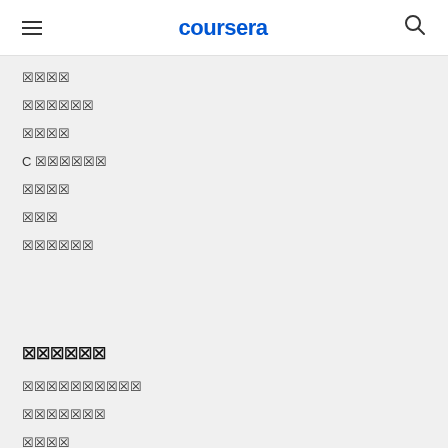coursera
[tofu characters]
[tofu characters]
[tofu characters]
C [tofu characters]
[tofu characters]
[tofu characters]
[tofu characters]
[tofu characters]
[tofu characters]
[tofu characters]
[tofu characters]